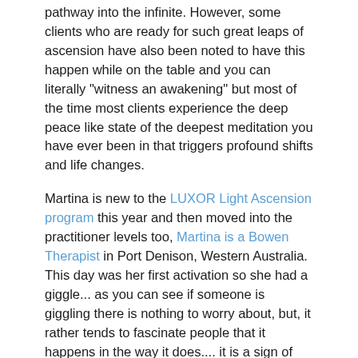pathway into the infinite. However, some clients who are ready for such great leaps of ascension have also been noted to have this happen while on the table and you can literally "witness an awakening" but most of the time most clients experience the deep peace like state of the deepest meditation you have ever been in that triggers profound shifts and life changes.
Martina is new to the LUXOR Light Ascension program this year and then moved into the practitioner levels too, Martina is a Bowen Therapist in Port Denison, Western Australia. This day was her first activation so she had a giggle... as you can see if someone is giggling there is nothing to worry about, but, it rather tends to fascinate people that it happens in the way it does.... it is a sign of total surrender and I noticed it begin with my Mother in the weeks before her passing as she surrendered to the Presence of the Infinite God Source and lifted her consciousness to an "awakened state" before passing. Mum was used to the energy too because she received healing almost every day of her 18 month journey living with lung cancer. I had noticed Mum have jolts occasionally in that time and her tumour shrank considerably in size but unfortunately the damage to her lung was already too far gone and she eventually had passing and her wellness but that started to end her of origins